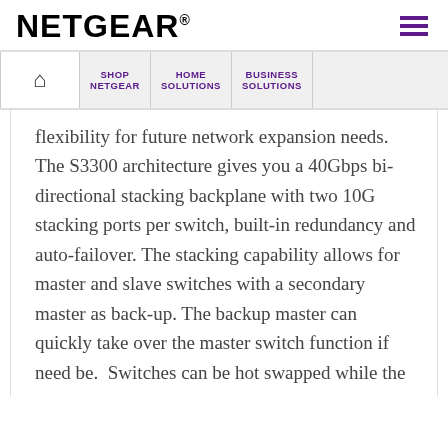[Figure (logo): NETGEAR logo in bold black text with registered trademark symbol]
[Figure (other): Hamburger menu icon with three purple horizontal bars]
SHOP NETGEAR | HOME SOLUTIONS | BUSINESS SOLUTIONS
flexibility for future network expansion needs. The S3300 architecture gives you a 40Gbps bi-directional stacking backplane with two 10G stacking ports per switch, built-in redundancy and auto-failover. The stacking capability allows for master and slave switches with a secondary master as back-up. The backup master can quickly take over the master switch function if need be. Switches can be hot swapped while the